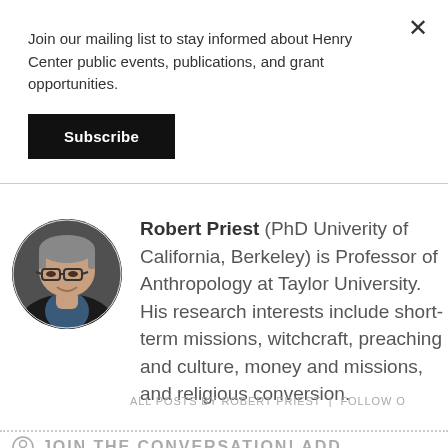Join our mailing list to stay informed about Henry Center public events, publications, and grant opportunities.
Subscribe
[Figure (photo): Circular headshot photo of Robert Priest, a middle-aged man with glasses and short gray hair, wearing a dark jacket]
Robert Priest (PhD University of California, Berkeley) is Professor of Anthropology at Taylor University. His research interests include short-term missions, witchcraft, preaching and culture, money and missions, and religious conversion.
ALL POSTS BY ROBERT PRIEST  |  FOLLOW O
JOIN THE CONVERSATION! ADD